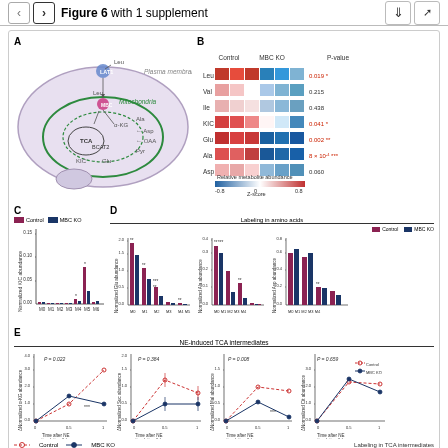Figure 6 with 1 supplement
[Figure (schematic): Panel A: Schematic diagram of leucine (Leu) transport via LAT1 across the plasma membrane into a cell containing mitochondria. Shows MBC (pink), BCAT2, TCA cycle, and metabolites: Leu, KIC, Glu, alpha-KG, Ala, Asp, OAA, Pyr.]
[Figure (other): Panel B: Heatmap of relative metabolite abundance (Z-score from -0.8 to 0.8) comparing Control and MBC KO for metabolites: Leu, Val, Ile, KIC, Glu, Ala, Asp. P-values listed: 0.019*, 0.215, 0.438, 0.041*, 0.002**, 8x10^-4 ***, 0.060]
[Figure (bar-chart): Bar chart showing normalized KIC abundance for Control and MBC KO at isotopologue labels M0 through M6. Control shown in dark red/maroon, MBC KO in dark blue. Significance markers * at M4 and M5.]
[Figure (grouped-bar-chart): Four grouped bar charts showing isotopologue labeling (M0-M5) in Glu, Ala, and Asp abundances for Control (maroon) and MBC KO (blue). Significance markers ** and *** shown.]
[Figure (line-chart): Four line charts showing delta normalized abundance over time after NE stimulation (0, 0.5, 1 h) for alpha-KG (P=0.022), Suc (P=0.384), Mal (P=0.008), Cit (P=0.659). Control (open circles, red dashed) and MBC KO (filled circles, blue solid). Significance *** shown.]
Labeling in TCA intermediates